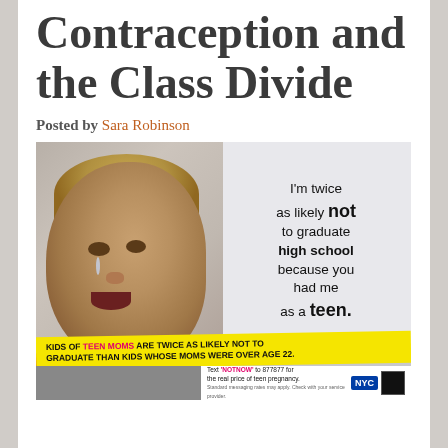Contraception and the Class Divide
Posted by Sara Robinson
[Figure (photo): NYC public health advertisement showing a crying baby with text: 'I'm twice as likely not to graduate high school because you had me as a teen.' Yellow banner reads: 'KIDS OF TEEN MOMS ARE TWICE AS LIKELY NOT TO GRADUATE THAN KIDS WHOSE MOMS WERE OVER AGE 22.' Bottom right has text: 'Text NOTNOW to 877877 for the real price of teen pregnancy.' NYC logo and QR code visible.]